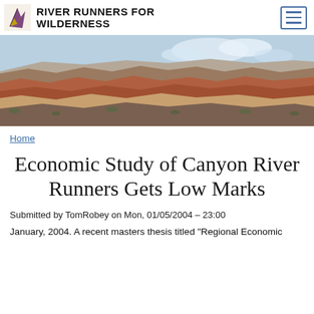RIVER RUNNERS FOR WILDERNESS
[Figure (photo): Panoramic photograph of a canyon landscape with red and tan rock formations, mesas, and a partly cloudy sky — likely Grand Canyon area.]
Home
Economic Study of Canyon River Runners Gets Low Marks
Submitted by TomRobey on Mon, 01/05/2004 – 23:00
January, 2004. A recent masters thesis titled "Regional Economic